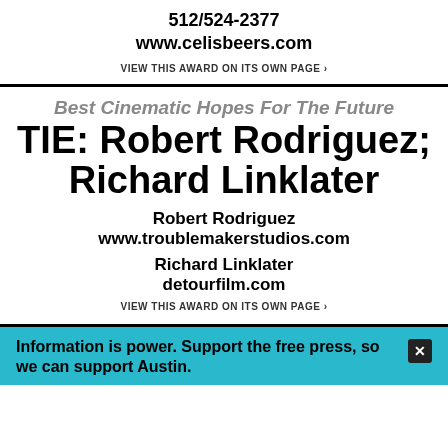512/524-2377
www.celisbeers.com
VIEW THIS AWARD ON ITS OWN PAGE ›
Best Cinematic Hopes For The Future
TIE: Robert Rodriguez; Richard Linklater
Robert Rodriguez
www.troublemakerstudios.com
Richard Linklater
detourfilm.com
VIEW THIS AWARD ON ITS OWN PAGE ›
Information is power. Support the free press, so we can support Austin.